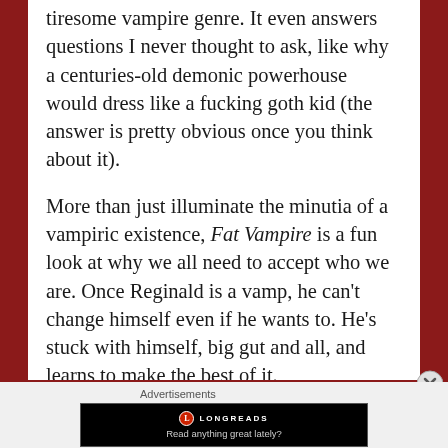tiresome vampire genre. It even answers questions I never thought to ask, like why a centuries-old demonic powerhouse would dress like a fucking goth kid (the answer is pretty obvious once you think about it).

More than just illuminate the minutia of a vampiric existence, Fat Vampire is a fun look at why we all need to accept who we are. Once Reginald is a vamp, he can't change himself even if he wants to. He's stuck with himself, big gut and all, and learns to make the best of it.
[Figure (screenshot): An advertisement banner for Longreads with black background, Longreads logo (red circle with L), the text 'LONGREADS' and tagline 'Read anything great lately?']